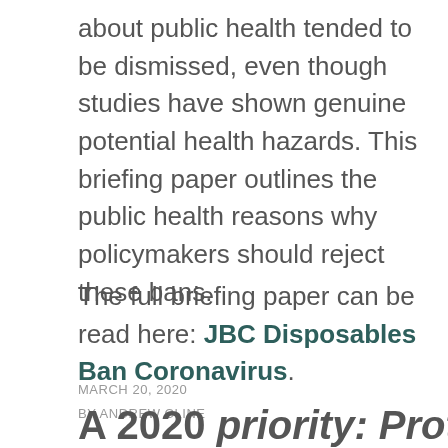about public health tended to be dismissed, even though studies have shown genuine potential health hazards. This briefing paper outlines the public health reasons why policymakers should reject these bans.
The full briefing paper can be read here: JBC Disposables Ban Coronavirus.
MARCH 20, 2020
BY ANDREW CLINE
A 2020 priority: Protecting...